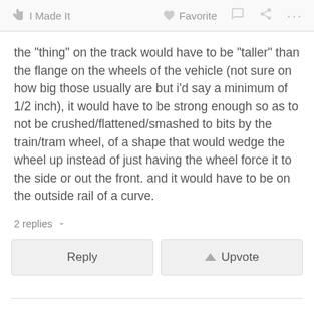I Made It   Favorite   [comment icon]   [share icon]   ...
the "thing" on the track would have to be "taller" than the flange on the wheels of the vehicle (not sure on how big those usually are but i'd say a minimum of 1/2 inch), it would have to be strong enough so as to not be crushed/flattened/smashed to bits by the train/tram wheel, of a shape that would wedge the wheel up instead of just having the wheel force it to the side or out the front. and it would have to be on the outside rail of a curve.
2 replies
Reply
Upvote